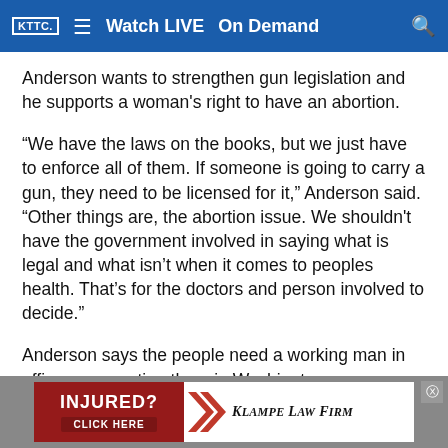KTTC  Watch LIVE  On Demand
Anderson wants to strengthen gun legislation and he supports a woman's right to have an abortion.
“We have the laws on the books, but we just have to enforce all of them. If someone is going to carry a gun, they need to be licensed for it,” Anderson said. “Other things are, the abortion issue. We shouldn’t have the government involved in saying what is legal and what isn’t when it comes to peoples health. That’s for the doctors and person involved to decide.”
Anderson says the people need a working man in office representing them in Washington.
[Figure (screenshot): Advertisement banner for Klampe Law Firm with 'INJURED? CLICK HERE' text on red background and red chevron logo]